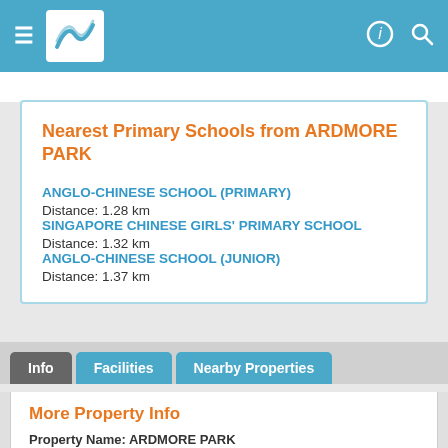Navigation bar with menu, logo, info and search icons
Nearest Primary Schools from ARDMORE PARK
ANGLO-CHINESE SCHOOL (PRIMARY)
Distance: 1.28 km
SINGAPORE CHINESE GIRLS' PRIMARY SCHOOL
Distance: 1.32 km
ANGLO-CHINESE SCHOOL (JUNIOR)
Distance: 1.37 km
Info | Facilities | Nearby Properties
More Property Info
Property Name: ARDMORE PARK